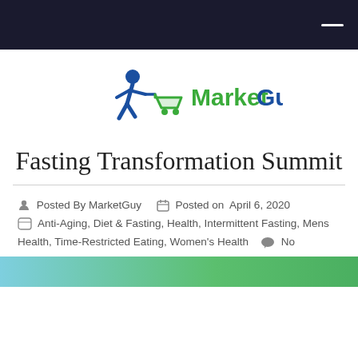MarketGuy navigation bar
[Figure (logo): MarketGuy logo: blue walking figure with green shopping cart icon, followed by text 'Market' in green and 'Guy' in dark blue]
Fasting Transformation Summit
Posted By MarketGuy   Posted on April 6, 2020  Anti-Aging, Diet & Fasting, Health, Intermittent Fasting, Mens Health, Time-Restricted Eating, Women's Health   No Comments.